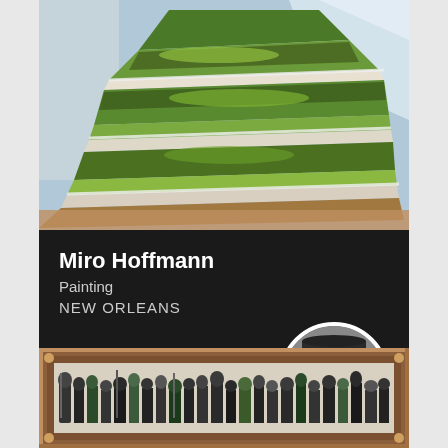[Figure (photo): Aerial view of terraced garden with green plantings, white pathway dividers, and surrounding urban environment with greenhouses]
Miro Hoffmann
Painting
NEW ORLEANS
[Figure (photo): Black and white portrait photo of a young man wearing a cap]
[Figure (photo): Framed artwork showing a group of people in a horizontal panoramic composition, with wooden frame border]